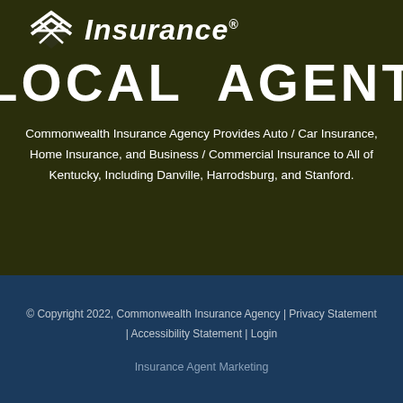[Figure (logo): Nationwide Insurance logo with diamond/house icon and 'Insurance' text in white on dark olive background]
LOCAL AGENT
Commonwealth Insurance Agency Provides Auto / Car Insurance, Home Insurance, and Business / Commercial Insurance to All of Kentucky, Including Danville, Harrodsburg, and Stanford.
© Copyright 2022, Commonwealth Insurance Agency | Privacy Statement | Accessibility Statement | Login
Insurance Agent Marketing